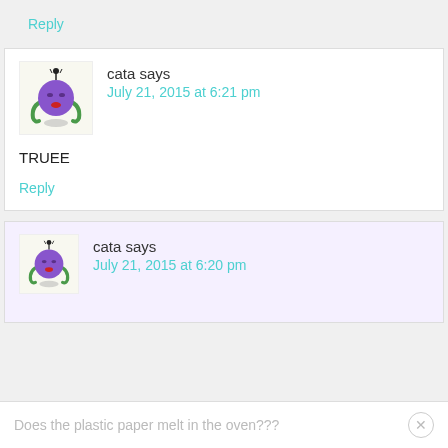Reply
cata says
July 21, 2015 at 6:21 pm
TRUEE
Reply
cata says
July 21, 2015 at 6:20 pm
Does the plastic paper melt in the oven???